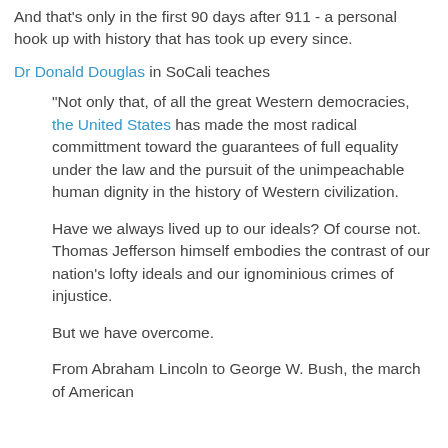And that's only in the first 90 days after 911 - a personal hook up with history that has took up every since.
Dr Donald Douglas in SoCali teaches
"Not only that, of all the great Western democracies, the United States has made the most radical committment toward the guarantees of full equality under the law and the pursuit of the unimpeachable human dignity in the history of Western civilization.
Have we always lived up to our ideals? Of course not. Thomas Jefferson himself embodies the contrast of our nation's lofty ideals and our ignominious crimes of injustice.
But we have overcome.
From Abraham Lincoln to George W. Bush, the march of American